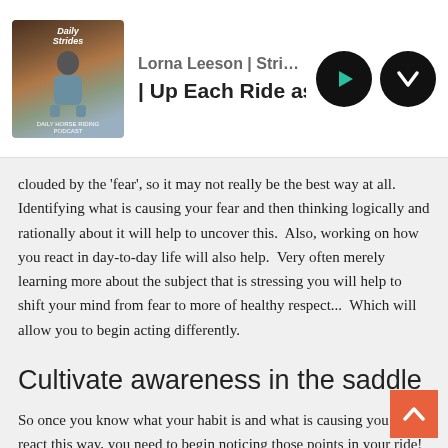Lorna Leeson | Strides for Success — | Up Each Ride as a Stepping Stone i
clouded by the 'fear', so it may not really be the best way at all.  Identifying what is causing your fear and then thinking logically and rationally about it will help to uncover this.  Also, working on how you react in day-to-day life will also help.  Very often merely learning more about the subject that is stressing you will help to shift your mind from fear to more of healthy respect...  Which will allow you to begin acting differently.
Cultivate awareness in the saddle
So once you know what your habit is and what is causing you to react this way, you need to begin noticing those points in your ride!  This is easier said than done.  Remember the habit or behaviour is your 'go-to' action.  Noticing you are doing it or about to do it will be difficult at first.   However, it